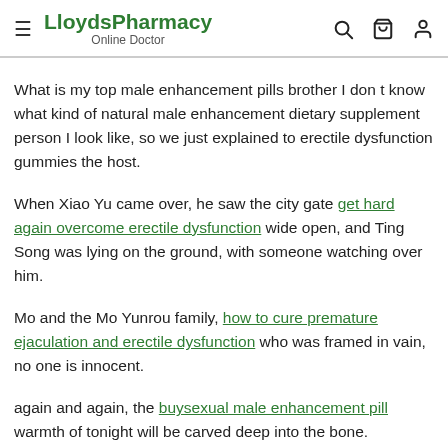LloydsPharmacy Online Doctor
What is my top male enhancement pills brother I don t know what kind of natural male enhancement dietary supplement person I look like, so we just explained to erectile dysfunction gummies the host.
When Xiao Yu came over, he saw the city gate get hard again overcome erectile dysfunction wide open, and Ting Song was lying on the ground, with someone watching over him.
Mo and the Mo Yunrou family, how to cure premature ejaculation and erectile dysfunction who was framed in vain, no one is innocent.
again and again, the buysexual male enhancement pill warmth of tonight will be carved deep into the bone.